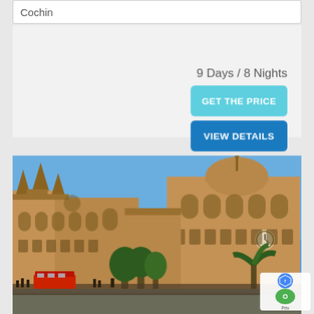Cochin
9 Days / 8 Nights
GET THE PRICE
VIEW DETAILS
[Figure (photo): Chhatrapati Shivaji Maharaj Terminus (CSMT) building in Mumbai, a grand Victorian Gothic architecture with blue sky background, crowds and traffic in foreground]